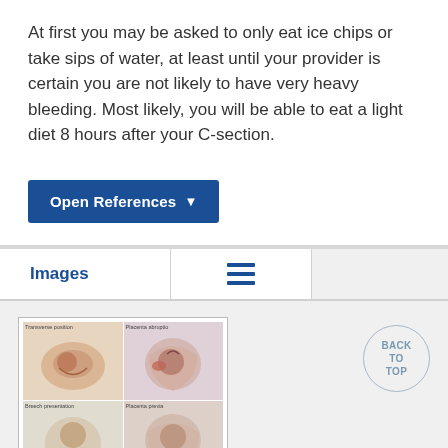At first you may be asked to only eat ice chips or take sips of water, at least until your provider is certain you are not likely to have very heavy bleeding. Most likely, you will be able to eat a light diet 8 hours after your C-section.
[Figure (other): Blue button labeled 'Open References' with dropdown arrow]
Images
[Figure (illustration): Medical illustration thumbnail showing four panels: Transverse position, Placenta abruptio, Breech presentation, Placenta previa. ADAM watermark at bottom right.]
[Figure (other): Back to Top circular button]
Cesarean section